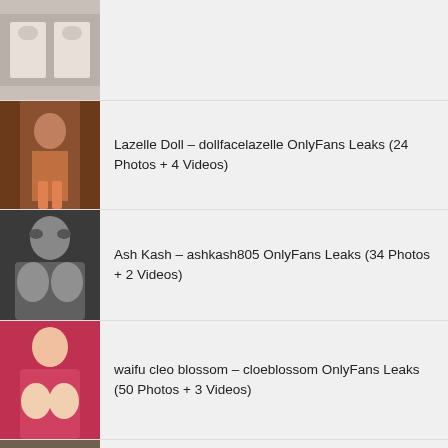(partial top entry, image only)
Lazelle Doll – dollfacelazelle OnlyFans Leaks (24 Photos + 4 Videos)
Ash Kash – ashkash805 OnlyFans Leaks (34 Photos + 2 Videos)
waifu cleo blossom – cloeblossom OnlyFans Leaks (50 Photos + 3 Videos)
kenziemarkxo OnlyFans Leaks (40 Photos + 2 Videos)